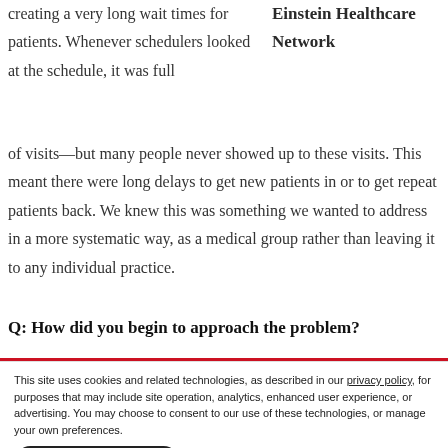creating a very long wait times for patients. Whenever schedulers looked at the schedule, it was full of visits—but many people never showed up to these visits. This meant there were long delays to get new patients in or to get repeat patients back. We knew this was something we wanted to address in a more systematic way, as a medical group rather than leaving it to any individual practice.
Einstein Healthcare Network
Q: How did you begin to approach the problem?
This site uses cookies and related technologies, as described in our privacy policy, for purposes that may include site operation, analytics, enhanced user experience, or advertising. You may choose to consent to our use of these technologies, or manage your own preferences.